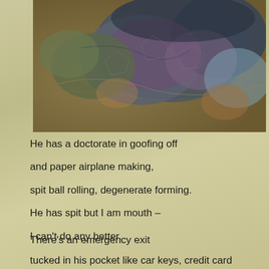[Figure (photo): Close-up photograph of textured organic material, appearing to be coral, lichen, or geological formation with muted blues, purples, greens, and brown/orange tones.]
He has a doctorate in goofing off

and paper airplane making,

spit ball rolling, degenerate forming.

He has spit but I am mouth –

I can't do any better.
There's an emergency exit
tucked in his pocket like car keys, credit card